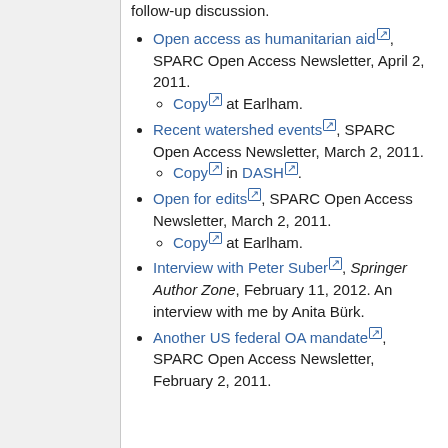follow-up discussion.
Open access as humanitarian aid, SPARC Open Access Newsletter, April 2, 2011.
Copy at Earlham.
Recent watershed events, SPARC Open Access Newsletter, March 2, 2011.
Copy in DASH.
Open for edits, SPARC Open Access Newsletter, March 2, 2011.
Copy at Earlham.
Interview with Peter Suber, Springer Author Zone, February 11, 2012. An interview with me by Anita Bürk.
Another US federal OA mandate, SPARC Open Access Newsletter, February 2, 2011.